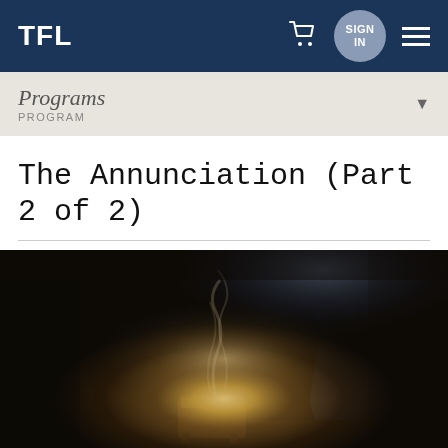TFL
Programs
PROGRAM
The Annunciation (Part 2 of 2)
[Figure (photo): Dark cave interior with a glowing manger/wooden box in the center filled with straw, surrounded by rocks. Light and smoke/mist emanate from the manger, creating a dramatic nativity scene atmosphere.]